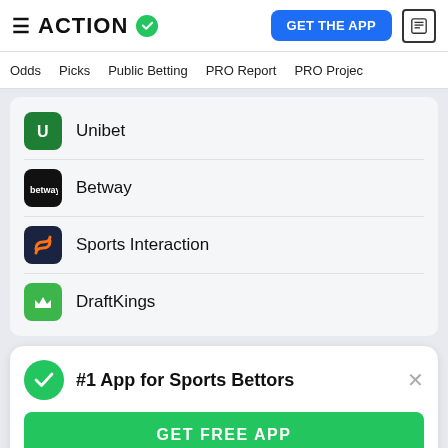ACTION (logo) | GET THE APP
Odds | Picks | Public Betting | PRO Report | PRO Project
Unibet
Betway
Sports Interaction
DraftKings
#1 App for Sports Bettors
GET FREE APP